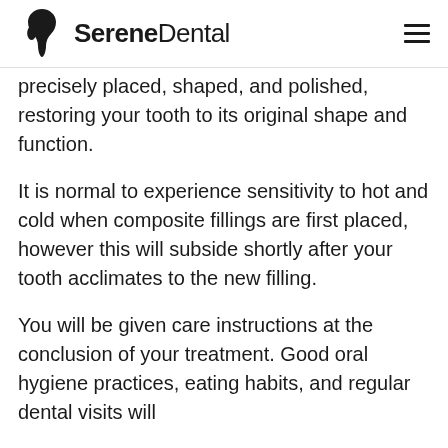Serene Dental
precisely placed, shaped, and polished, restoring your tooth to its original shape and function.
It is normal to experience sensitivity to hot and cold when composite fillings are first placed, however this will subside shortly after your tooth acclimates to the new filling.
You will be given care instructions at the conclusion of your treatment. Good oral hygiene practices, eating habits, and regular dental visits will